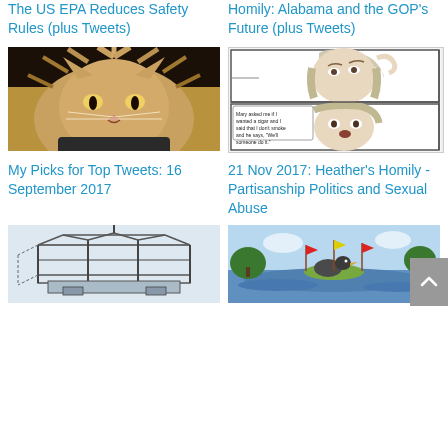The US EPA Reduces Safety Rules (plus Tweets)
Homily: Alabama and the GOP's Future (plus Tweets)
[Figure (photo): Fluffy angry-looking cat with wild, electrified fur, facing camera]
[Figure (illustration): Black and white comic-style panels depicting a woman (resembling Hillary Clinton) with speech bubble text about a cigar]
My Picks for Top Tweets: 16 September 2017
21 Nov 2017: Heather's Homily - Partisanship Politics and Sexual Abuse
[Figure (illustration): Line drawing of a cage or enclosure structure, appears to be an engineering or political cartoon illustration]
[Figure (illustration): Colorful cartoon of a duck on a small island surrounded by water with red and yellow flags]